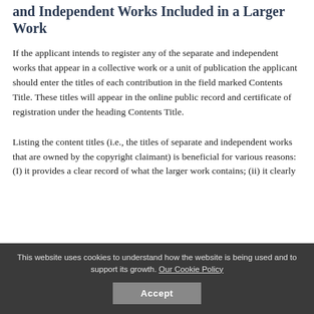and Independent Works Included in a Larger Work
If the applicant intends to register any of the separate and independent works that appear in a collective work or a unit of publication the applicant should enter the titles of each contribution in the field marked Contents Title. These titles will appear in the online public record and certificate of registration under the heading Contents Title.
Listing the content titles (i.e., the titles of separate and independent works that are owned by the copyright claimant) is beneficial for various reasons: (I) it provides a clear record of what the larger work contains; (ii) it clearly
This website uses cookies to understand how the website is being used and to support its growth. Our Cookie Policy
Accept